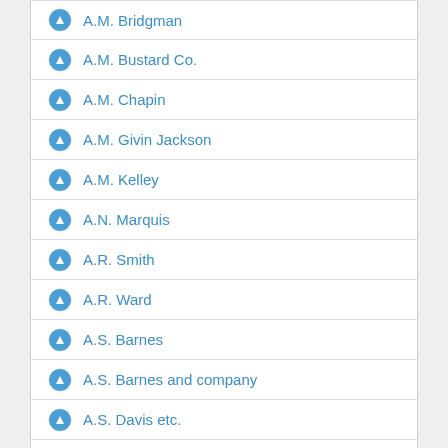A.M. Bridgman
A.M. Bustard Co.
A.M. Chapin
A.M. Givin Jackson
A.M. Kelley
A.N. Marquis
A.R. Smith
A.R. Ward
A.S. Barnes
A.S. Barnes and company
A.S. Davis etc.